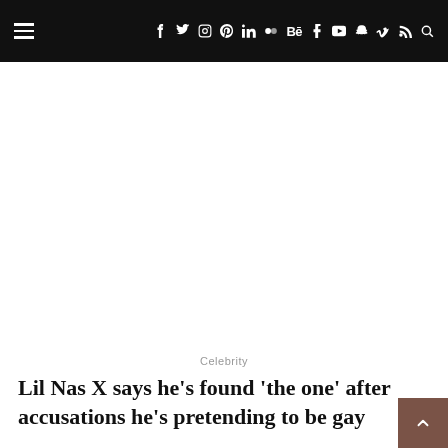≡  f  twitter  instagram  pinterest  in  flickr  Be  t  youtube  snapchat  v  rss  search
Celebrity
Lil Nas X says he's found 'the one' after accusations he's pretending to be gay